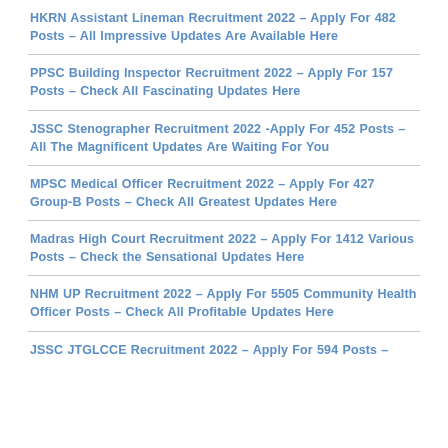HKRN Assistant Lineman Recruitment 2022 – Apply For 482 Posts – All Impressive Updates Are Available Here
PPSC Building Inspector Recruitment 2022 – Apply For 157 Posts – Check All Fascinating Updates Here
JSSC Stenographer Recruitment 2022 -Apply For 452 Posts – All The Magnificent Updates Are Waiting For You
MPSC Medical Officer Recruitment 2022 – Apply For 427 Group-B Posts – Check All Greatest Updates Here
Madras High Court Recruitment 2022 – Apply For 1412 Various Posts – Check the Sensational Updates Here
NHM UP Recruitment 2022 – Apply For 5505 Community Health Officer Posts – Check All Profitable Updates Here
JSSC JTGLCCE Recruitment 2022 – Apply For 594 Posts –